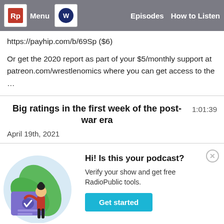Menu | Episodes | How to Listen
Pay link for Wrestlenomics Pro Wrestling Industry Report 2020:
https://payhip.com/b/69Sp ($6)
Or get the 2020 report as part of your $5/monthly support at patreon.com/wrestlenomics where you can get access to the …
Big ratings in the first week of the post-war era
1:01:39
April 19th, 2021
[Figure (illustration): Illustration of a woman standing next to a document with a checkmark, with green leaves in the background, inside a circular frame]
Hi! Is this your podcast?
Verify your show and get free RadioPublic tools.
Get started